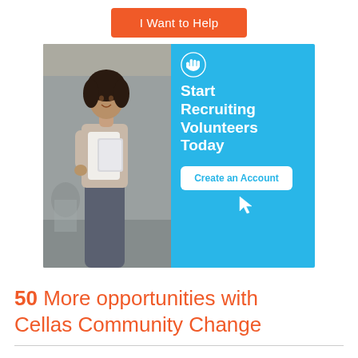I Want to Help
[Figure (illustration): Banner ad showing a woman holding a laptop in an office setting on the left half, and a light blue right half with a volunteer hand icon, text 'Start Recruiting Volunteers Today', a 'Create an Account' button, and a cursor icon.]
50 More opportunities with Cellas Community Change